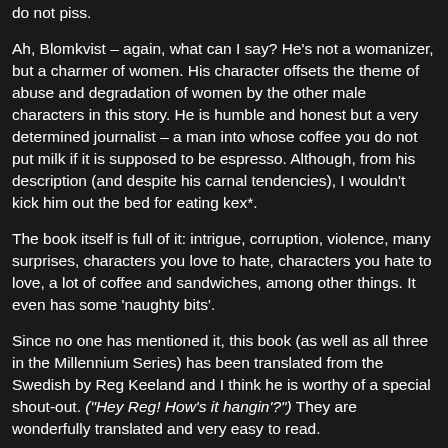do not piss.
Ah, Blomkvist – again, what can I say? He's not a womanizer, but a charmer of women. His character offsets the theme of abuse and degradation of women by the other male characters in this story. He is humble and honest but a very determined journalist – a man into whose coffee you do not put milk if it is supposed to be espresso. Although, from his description (and despite his carnal tendencies), I wouldn't kick him out the bed for eating kex*.
The book itself is full of it: intrigue, corruption, violence, many surprises, characters you love to hate, characters you hate to love, a lot of coffee and sandwiches, among other things. It even has some 'naughty bits'.
Since no one has mentioned it, this book (as well as all three in the Millennium Series) has been translated from the Swedish by Reg Keeland and I think he is worthy of a special shout-out. ("Hey Reg! How's it hangin'?") They are wonderfully translated and very easy to read.